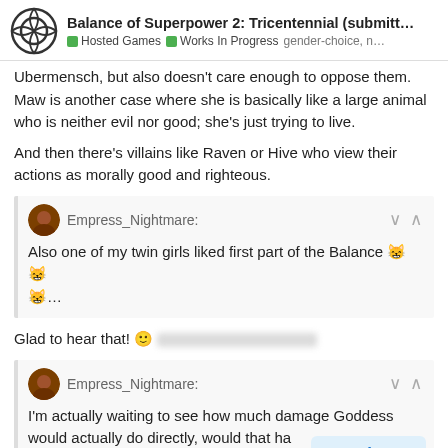Balance of Superpower 2: Tricentennial (submitt... | Hosted Games | Works In Progress | gender-choice, n...
Ubermensch, but also doesn't care enough to oppose them. Maw is another case where she is basically like a large animal who is neither evil nor good; she's just trying to live.
And then there's villains like Raven or Hive who view their actions as morally good and righteous.
Empress_Nightmare: Also one of my twin girls liked first part of the Balance 😸😸😸...
Glad to hear that! 🙂
Empress_Nightmare: I'm actually waiting to see how much damage Goddess would actually do directly, would that ha... the series?
494 / 596